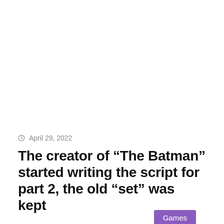Games
April 29, 2022
The creator of “The Batman” started writing the script for part 2, the old “set” was kept
Recently, Warner Bros. Pictures officially announced that director Matt Reeves has begun writing the script for the sequel to “The…
Read More »